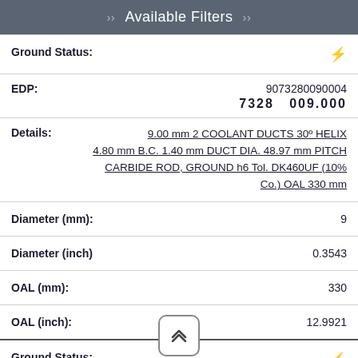Available Filters
| Field | Value |
| --- | --- |
| Ground Status: |  |
| EDP: | 9073280090004
7328   009.000 |
| Details: | 9.00 mm 2 COOLANT DUCTS 30° HELIX 4.80 mm B.C. 1.40 mm DUCT DIA. 48.97 mm PITCH CARBIDE ROD, GROUND h6 Tol. DK460UF (10% Co.) OAL 330 mm |
| Diameter (mm): | 9 |
| Diameter (inch) | 0.3543 |
| OAL (mm): | 330 |
| OAL (inch): | 12.9921 |
| Ground Status: |  |